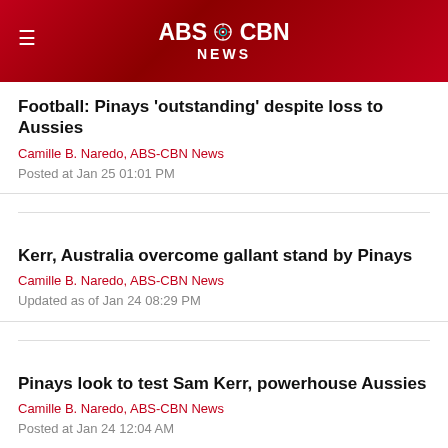ABS-CBN NEWS
Football: Pinays 'outstanding' despite loss to Aussies
Camille B. Naredo, ABS-CBN News
Posted at Jan 25 01:01 PM
Kerr, Australia overcome gallant stand by Pinays
Camille B. Naredo, ABS-CBN News
Updated as of Jan 24 08:29 PM
Pinays look to test Sam Kerr, powerhouse Aussies
Camille B. Naredo, ABS-CBN News
Posted at Jan 24 12:04 AM